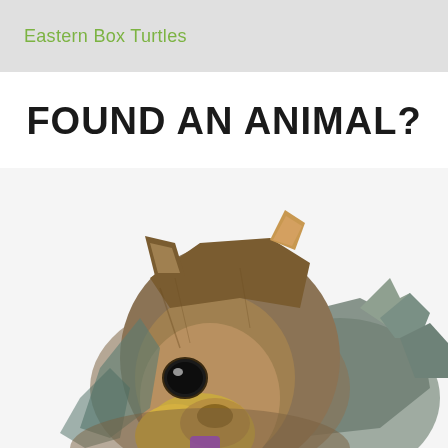Eastern Box Turtles
FOUND AN ANIMAL?
[Figure (illustration): Stylized/illustrated close-up image of a squirrel face and upper body, rendered in a posterized/digital-art style with browns, tans, yellows, and teal tones against a white background.]